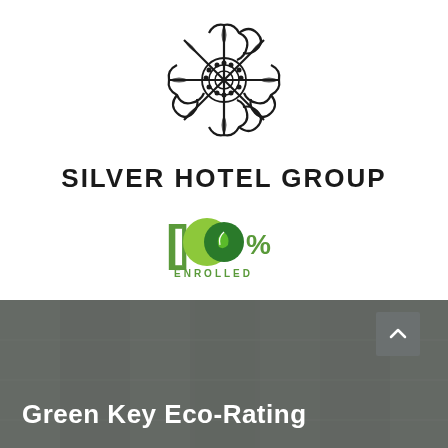[Figure (logo): Silver Hotel Group ornate knot/lattice logo mark in black]
SILVER HOTEL GROUP
[Figure (logo): 100% Enrolled green badge logo with leaf icon]
[Figure (photo): Background photo of hotel interior with grey wood paneling]
Green Key Eco-Rating